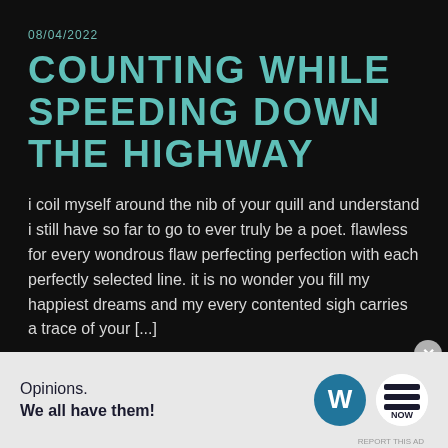08/04/2022
COUNTING WHILE SPEEDING DOWN THE HIGHWAY
i coil myself around the nib of your quill and understand i still have so far to go to ever truly be a poet. flawless for every wondrous flaw perfecting perfection with each perfectly selected line. it is no wonder you fill my happiest dreams and my every contented sigh carries a trace of your [...]
[Figure (infographic): WordPress advertisement banner: 'Opinions. We all have them!' with WordPress and WordNow logos on a light grey background]